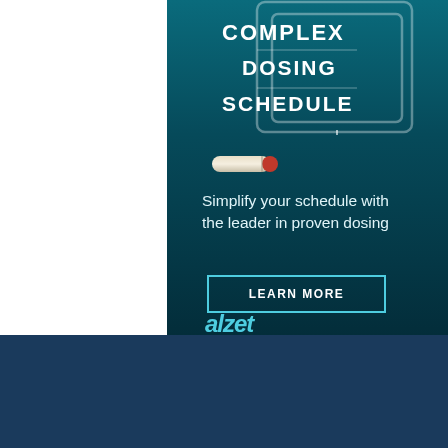[Figure (infographic): Advertisement banner with teal/dark background showing maze-like path graphic with text 'COMPLEX DOSING SCHEDULE', a capsule/pill image, tagline 'Simplify your schedule with the leader in proven dosing', a 'LEARN MORE' button, and 'alzet' logo at bottom]
SfN uses cookies to provide you with a secure and custom website experience. Please read our privacy policy for more details. Learn more
I Accept